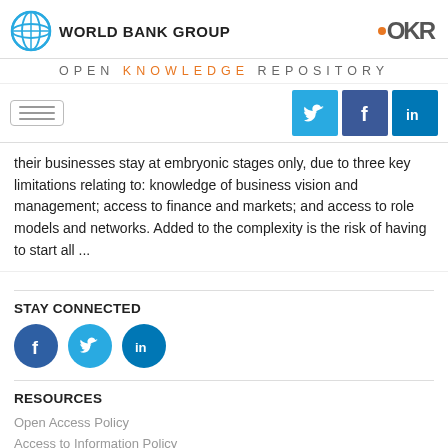WORLD BANK GROUP | OKR
OPEN KNOWLEDGE REPOSITORY
[Figure (screenshot): Navigation bar with hamburger menu and social media buttons for Twitter, Facebook, LinkedIn]
their businesses stay at embryonic stages only, due to three key limitations relating to: knowledge of business vision and management; access to finance and markets; and access to role models and networks. Added to the complexity is the risk of having to start all ...
STAY CONNECTED
[Figure (logo): Social media circle icons: Facebook, Twitter, LinkedIn]
RESOURCES
Open Access Policy
Access to Information Policy